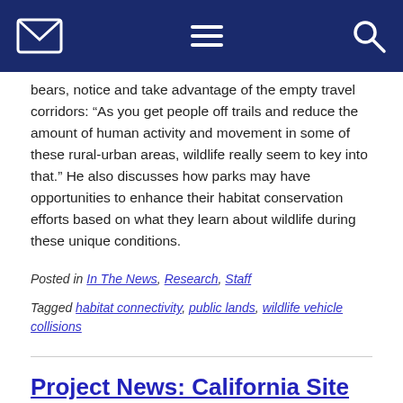[Navigation bar with envelope icon, menu icon, search icon]
bears, notice and take advantage of the empty travel corridors: “As you get people off trails and reduce the amount of human activity and movement in some of these rural-urban areas, wildlife really seem to key into that.” He also discusses how parks may have opportunities to enhance their habitat conservation efforts based on what they learn about wildlife during these unique conditions.
Posted in In The News, Research, Staff
Tagged habitat connectivity, public lands, wildlife vehicle collisions
Project News: California Site Selected for First FRP Wildlife